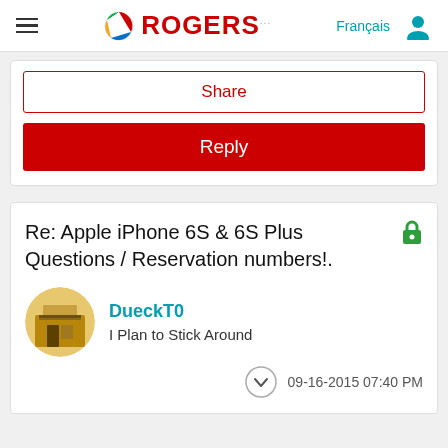Rogers - Français [user icon]
Share
Reply
Re: Apple iPhone 6S & 6S Plus Questions / Reservation numbers!.
DueckT0
I Plan to Stick Around
09-16-2015 07:40 PM